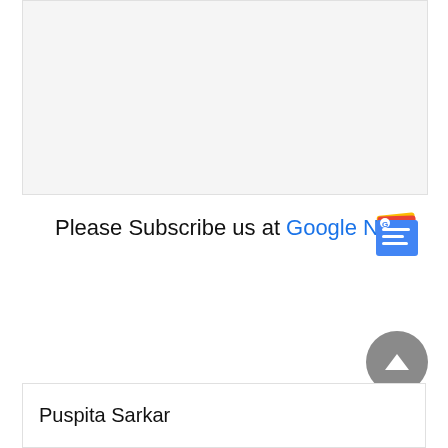[Figure (other): Gray placeholder image area at top of page]
Please Subscribe us at Google News
[Figure (logo): Google News icon/logo — colorful stacked news pages with G= symbol]
[Figure (other): Scroll to top button — dark gray circle with upward triangle arrow]
Puspita Sarkar